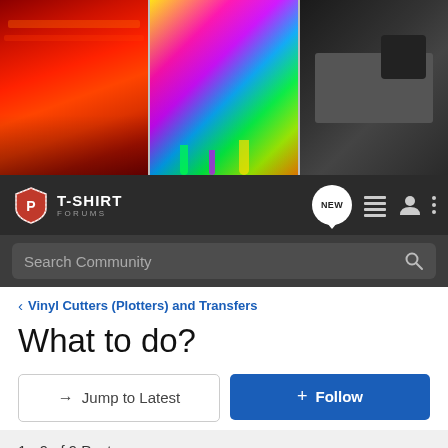[Figure (photo): Banner showing three panels: screen printing with red ink squeegee, colorful inks being mixed, and a printer/plotter machine]
[Figure (logo): T-Shirt Forums logo with shield icon and navigation bar with NEW button, list icon, user icon, and dots menu on dark background]
Search Community
< Vinyl Cutters (Plotters) and Transfers
What to do?
→ Jump to Latest
+ Follow
1 - 9 of 9 Posts
dtmabry · Registered
Joined Feb 12, 2008 · 13 Posts